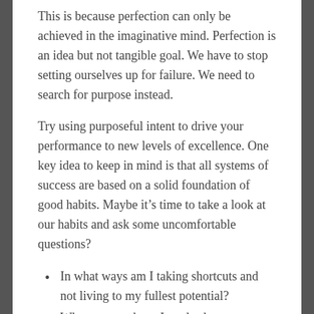This is because perfection can only be achieved in the imaginative mind. Perfection is an idea but not tangible goal. We have to stop setting ourselves up for failure. We need to search for purpose instead.
Try using purposeful intent to drive your performance to new levels of excellence. One key idea to keep in mind is that all systems of success are based on a solid foundation of good habits. Maybe it’s time to take a look at our habits and ask some uncomfortable questions?
In what ways am I taking shortcuts and not living to my fullest potential?
What excuses have I made about my recent performance or poor decisions?